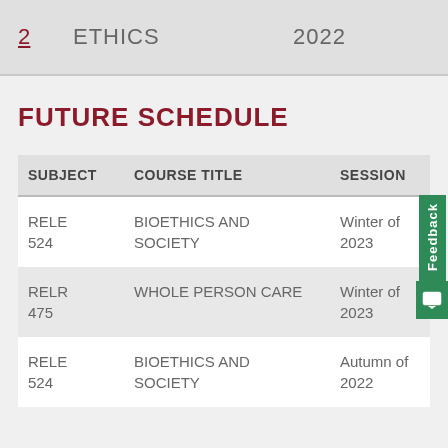|  | ETHICS | 2022 |
| --- | --- | --- |
| 2 | ETHICS | 2022 |
FUTURE SCHEDULE
| SUBJECT | COURSE TITLE | SESSION |
| --- | --- | --- |
| RELE 524 | BIOETHICS AND SOCIETY | Winter of 2023 |
| RELR 475 | WHOLE PERSON CARE | Winter of 2023 |
| RELE 524 | BIOETHICS AND SOCIETY | Autumn of 2022 |